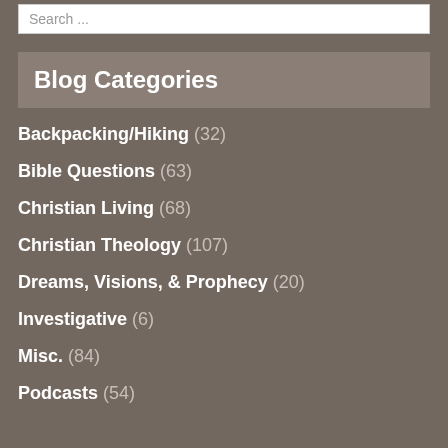Search ...
Blog Categories
Backpacking/Hiking (32)
Bible Questions (63)
Christian Living (68)
Christian Theology (107)
Dreams, Visions, & Prophecy (20)
Investigative (6)
Misc. (84)
Podcasts (54)